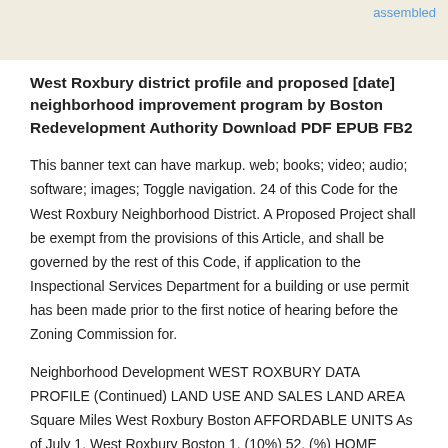assembled
West Roxbury district profile and proposed [date] neighborhood improvement program by Boston Redevelopment Authority Download PDF EPUB FB2
This banner text can have markup. web; books; video; audio; software; images; Toggle navigation. 24 of this Code for the West Roxbury Neighborhood District. A Proposed Project shall be exempt from the provisions of this Article, and shall be governed by the rest of this Code, if application to the Inspectional Services Department for a building or use permit has been made prior to the first notice of hearing before the Zoning Commission for.
Neighborhood Development WEST ROXBURY DATA PROFILE (Continued) LAND USE AND SALES LAND AREA Square Miles West Roxbury Boston AFFORDABLE UNITS As of July 1, West Roxbury Boston 1, (10%) 52, (%) HOME RENTAL TRENDS Rents of 1- 2- and